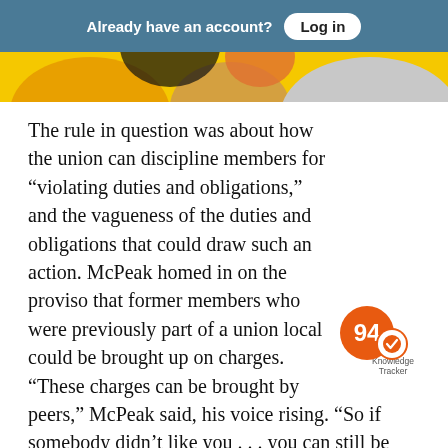Already have an account? Log in
[Figure (illustration): Colorful illustrated image strip with orange, yellow, and grey tones visible at the top of the article]
The rule in question was about how the union can discipline members for “violating duties and obligations,” and the vagueness of the duties and obligations that could draw such an action. McPeak homed in on the proviso that former members who were previously part of a union local could be brought up on charges. “These charges can be brought by peers,” McPeak said, his voice rising. “So if somebody didn’t like you . . . you can still be charged, and they can go after you financially, after you leave.”
[Figure (infographic): Knowledge Tracker badge showing score of 94 with orange circle and white checkmark]
McPeak explained that those charged would be “put on trial” before the local executive board, with the ability to gain assistance only from another